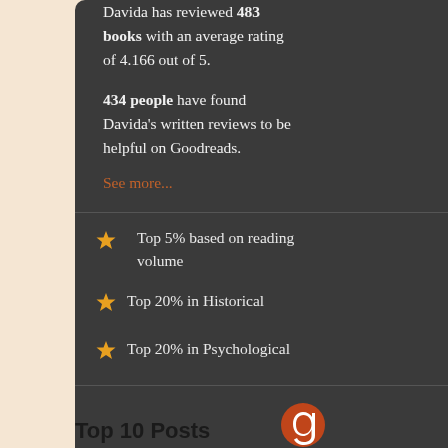Davida has reviewed 483 books with an average rating of 4.166 out of 5.
434 people have found Davida's written reviews to be helpful on Goodreads.
See more...
Top 5% based on reading volume
Top 20% in Historical
Top 20% in Psychological
[Figure (logo): Goodreads circular logo icon in orange/red]
Top 10 Posts